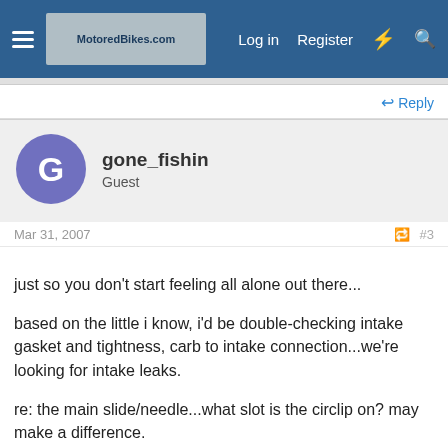MotoredBikes.com — Log in   Register
Reply
gone_fishin
Guest
Mar 31, 2007   #3
just so you don't start feeling all alone out there...

based on the little i know, i'd be double-checking intake gasket and tightness, carb to intake connection...we're looking for intake leaks.

re: the main slide/needle...what slot is the circlip on? may make a difference.

just throwing some things out there to check out.